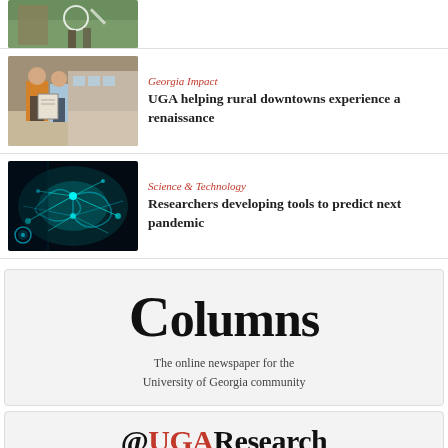[Figure (photo): Partial photo visible at top showing people outdoors, cropped]
[Figure (photo): Two men looking at a tablet or clipboard outdoors, one in orange shirt]
Georgia Impact
UGA helping rural downtowns experience a renaissance
[Figure (photo): Glowing teal/cyan network or brain visualization on dark background]
Science & Technology
Researchers developing tools to predict next pandemic
[Figure (logo): Columns newspaper logo with text 'The online newspaper for the University of Georgia community']
The online newspaper for the University of Georgia community
[Figure (logo): @UGA Research logo at bottom]